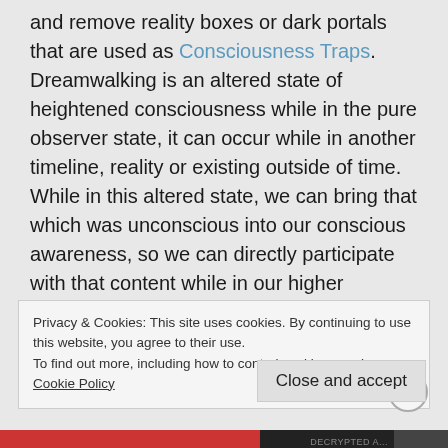and remove reality boxes or dark portals that are used as Consciousness Traps. Dreamwalking is an altered state of heightened consciousness while in the pure observer state, it can occur while in another timeline, reality or existing outside of time. While in this altered state, we can bring that which was unconscious into our conscious awareness, so we can directly participate with that content while in our higher consciousness. The path of awakening is to bring that which is unconscious into
Privacy & Cookies: This site uses cookies. By continuing to use this website, you agree to their use. To find out more, including how to control cookies, see here: Cookie Policy
Close and accept